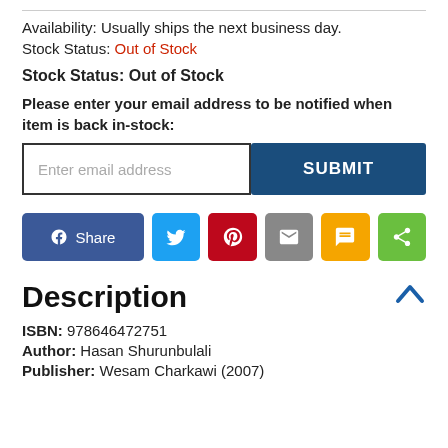Availability: Usually ships the next business day.
Stock Status: Out of Stock
Stock Status: Out of Stock
Please enter your email address to be notified when item is back in-stock:
[Figure (screenshot): Email input field with placeholder 'Enter email address' and a dark blue SUBMIT button]
[Figure (infographic): Social sharing buttons: Facebook Share, Twitter, Pinterest, Email, SMS, Share]
Description
ISBN: 9786464‌72751
Author: Hasan Shurunbulali
Publisher: Wesam Charkawi (2007)